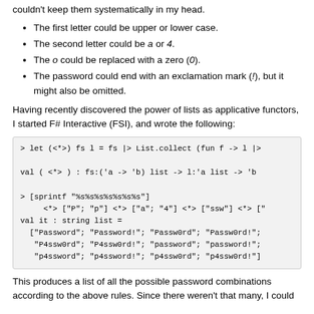couldn't keep them systematically in my head.
The first letter could be upper or lower case.
The second letter could be a or 4.
The o could be replaced with a zero (0).
The password could end with an exclamation mark (!), but it might also be omitted.
Having recently discovered the power of lists as applicative functors, I started F# Interactive (FSI), and wrote the following:
[Figure (screenshot): F# Interactive code block showing let (<*>) fs l = fs |> List.collect (fun f -> l |> ... and val (<*>) : fs:('a -> 'b) list -> l:'a list -> 'b ... and > [sprintf "%s%s%s%s%s%s%s"] <*> ["P"; "p"] <*> ["a"; "4"] <*> ["ssw"] <*> [" and val it : string list = ["Password"; "Password!"; "Passw0rd"; "Passw0rd!"; "P4ssw0rd"; "P4ssw0rd!"; "password"; "password!"; "p4ssword"; "p4ssword!"; "p4ssw0rd"; "p4ssw0rd!"]]
This produces a list of all the possible password combinations according to the above rules. Since there weren't that many, I could